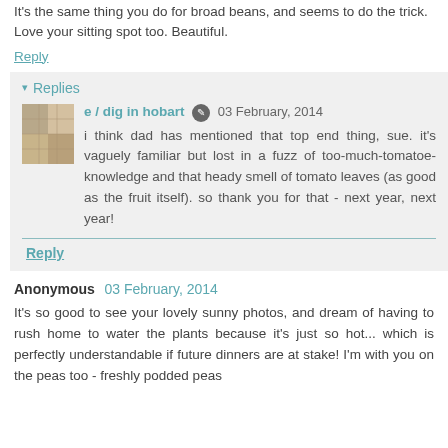It's the same thing you do for broad beans, and seems to do the trick. Love your sitting spot too. Beautiful.
Reply
▾ Replies
e / dig in hobart  03 February, 2014
i think dad has mentioned that top end thing, sue. it's vaguely familiar but lost in a fuzz of too-much-tomatoe-knowledge and that heady smell of tomato leaves (as good as the fruit itself). so thank you for that - next year, next year!
Reply
Anonymous  03 February, 2014
It's so good to see your lovely sunny photos, and dream of having to rush home to water the plants because it's just so hot... which is perfectly understandable if future dinners are at stake! I'm with you on the peas too - freshly podded peas